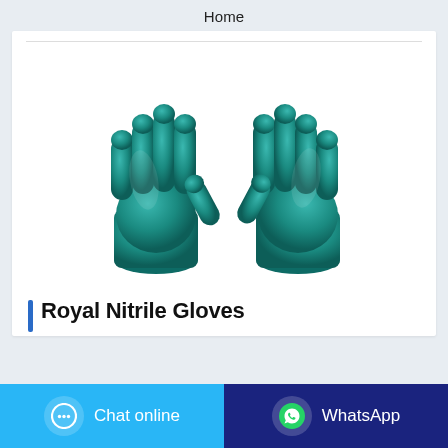Home
[Figure (photo): Two teal/green nitrile rubber gloves shown side by side, fingers pointing upward, on a white background.]
Royal Nitrile Gloves